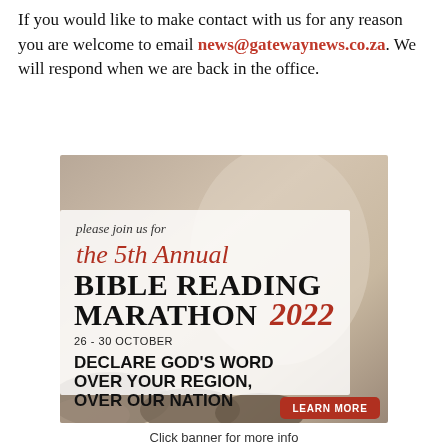If you would like to make contact with us for any reason you are welcome to email news@gatewaynews.co.za. We will respond when we are back in the office.
[Figure (illustration): Banner advertisement for the 5th Annual Bible Reading Marathon 2022, 26-30 October. Text reads: please join us for the 5th Annual Bible Reading Marathon 2022. Declare God's Word over your region, over our nation. Learn More button. Background shows stones/rocks.]
Click banner for more info